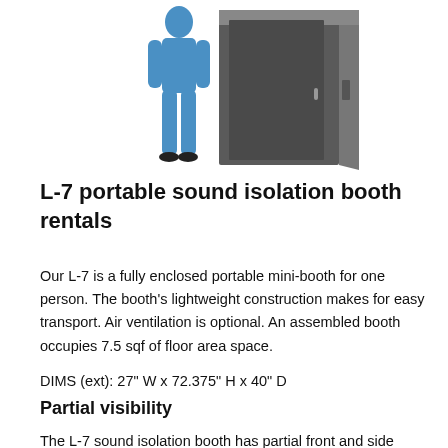[Figure (illustration): A blue human figure (person) standing next to a dark grey rectangular sound isolation booth/cabinet. The illustration shows the relative size of the booth compared to a person.]
L-7 portable sound isolation booth rentals
Our L-7 is a fully enclosed portable mini-booth for one person. The booth's lightweight construction makes for easy transport. Air ventilation is optional. An assembled booth occupies 7.5 sqf of floor area space.
DIMS (ext): 27" W x 72.375" H x 40" D
Partial visibility
The L-7 sound isolation booth has partial front and side windows to allow the booth occupant(s) good visibility